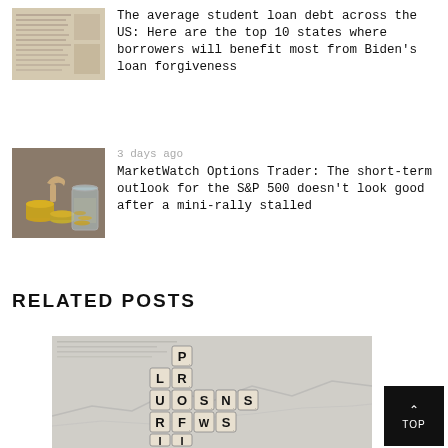[Figure (photo): Newspaper/financial document pages stacked, top article thumbnail]
The average student loan debt across the US: Here are the top 10 states where borrowers will benefit most from Biden's loan forgiveness
3 days ago
[Figure (photo): Hands stacking coins next to a glass jar filled with coins, savings/money concept]
MarketWatch Options Trader: The short-term outlook for the S&P 500 doesn't look good after a mini-rally stalled
RELATED POSTS
[Figure (photo): Scrabble tiles spelling out PROFITS on financial chart/newspaper background]